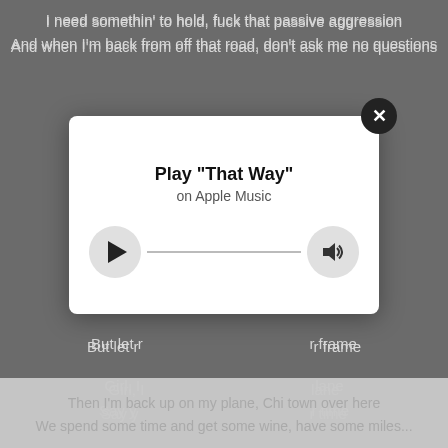I need somethin' to hold, fuck that passive aggression
And when I'm back from off that road, don't ask me no questions
Please
Fear what you don't know
But let r... r frame
Girl, I... plane
Say y... r time
Don't... et her
And if... eaven
She say she from Seattle, she twenty and some change
Before I get to T.I.A., I'm sure to make her rain
[Figure (screenshot): Apple Music play modal overlay with play button, progress line, and volume button. Title: Play "That Way" on Apple Music. Close button (X) in top right.]
Then I'm back up on my plane, Chi town over here
We spend some time and get some wine, have some miles...